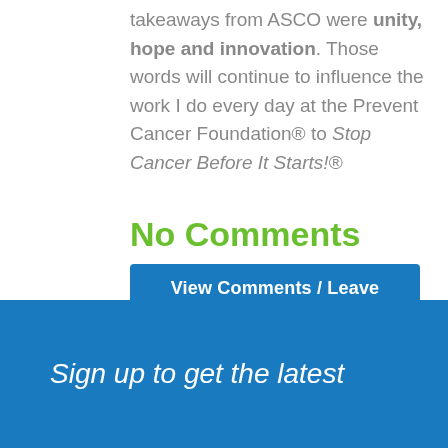takeaways from ACSO were unity, hope and innovation. Those words will continue to influence the work I do every day at the Prevent Cancer Foundation® to Stop Cancer Before It Starts!®
No Comments
View Comments / Leave Comment
Sign up to get the latest